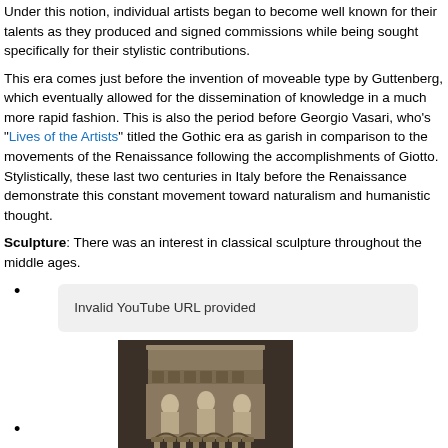Under this notion, individual artists began to become well known for their talents as they produced and signed commissions while being sought specifically for their stylistic contributions.
This era comes just before the invention of moveable type by Guttenberg, which eventually allowed for the dissemination of knowledge in a much more rapid fashion. This is also the period before Georgio Vasari, who's "Lives of the Artists" titled the Gothic era as garish in comparison to the movements of the Renaissance following the accomplishments of Giotto. Stylistically, these last two centuries in Italy before the Renaissance demonstrate this constant movement toward naturalism and humanistic thought.
Sculpture: There was an interest in classical sculpture throughout the middle ages.
Invalid YouTube URL provided
[photo of sculpture/pulpit]
[Figure (photo): Black and white photograph of a medieval carved stone pulpit with ornate relief sculptures, columns, and decorative architectural details.]